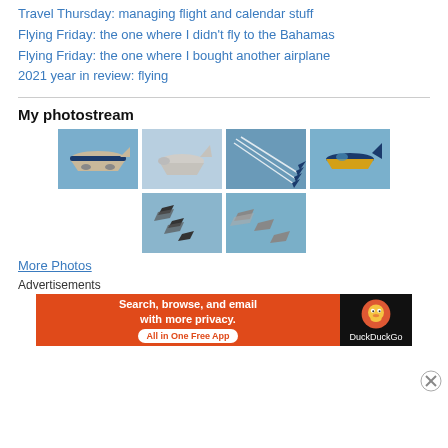Travel Thursday: managing flight and calendar stuff
Flying Friday: the one where I didn't fly to the Bahamas
Flying Friday: the one where I bought another airplane
2021 year in review: flying
My photostream
[Figure (photo): Underside of large commercial aircraft (Alaska Airlines livery) against blue sky]
[Figure (photo): Underside of large commercial aircraft approaching, blue sky background]
[Figure (photo): Blue Angels formation with smoke trails against blue sky]
[Figure (photo): Single Blue Angels jet against blue sky]
[Figure (photo): Three dark fighter jets in formation against blue sky]
[Figure (photo): Three fighter jets in formation against blue sky]
More Photos
Advertisements
[Figure (screenshot): DuckDuckGo advertisement: Search, browse, and email with more privacy. All in One Free App]